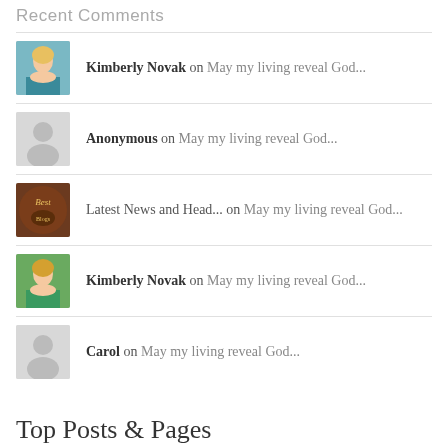Recent Comments
Kimberly Novak on May my living reveal God...
Anonymous on May my living reveal God...
Latest News and Head... on May my living reveal God...
Kimberly Novak on May my living reveal God...
Carol on May my living reveal God...
Top Posts & Pages